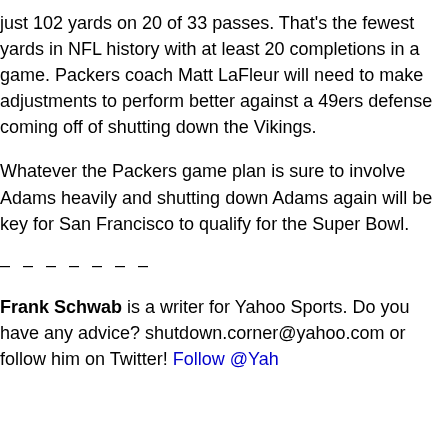just 102 yards on 20 of 33 passes. That's the fewest yards in NFL hist… 20 completions in a game. Packers coach Matt LaFleur will need to m… adjustments to perform better against a 49ers defense coming off o… the Vikings.
Whatever the Packers game plan is sure to involve Adams heavily and… down Adams again will be key for San Francisco to qualify for the Sup…
– – – – – – –
Frank Schwab is a writer for Yahoo Sports. Do you have any advice?… shutdown.corner@yahoo.com or follow him on Twitter! Follow @Yah…